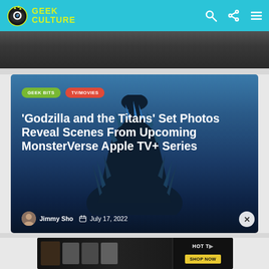Geek Culture
[Figure (photo): Partially cropped photo at top of page, dark tones]
[Figure (photo): Godzilla and the Titans article card featuring Godzilla silhouette with spikes against a dark blue background]
GEEK BITS
TV/MOVIES
'Godzilla and the Titans' Set Photos Reveal Scenes From Upcoming MonsterVerse Apple TV+ Series
Jimmy Sho   July 17, 2022
[Figure (screenshot): Advertisement banner at bottom of page]